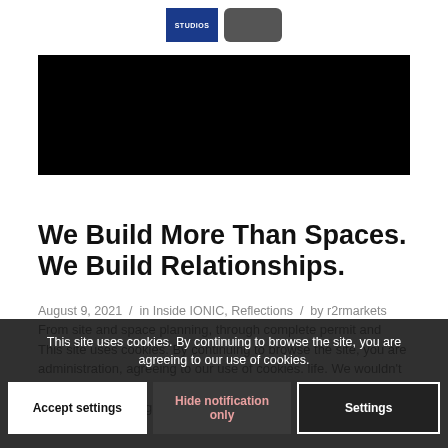[Figure (logo): Website logo with blue studio text box and dark rounded pill shape]
[Figure (photo): Black rectangular banner image, content not visible]
We Build More Than Spaces. We Build Relationships.
August 9, 2021 / in Inside IONIC, Reflections / by r2rmarkets
From site and space planning, through complete permit and construction documentation, by continuing to use this site, administration, we strive to be a key part of your life. We wouldn't be able to do what we path. We may be there with the right...
This site uses cookies. By continuing to browse the site, you are agreeing to our use of cookies.